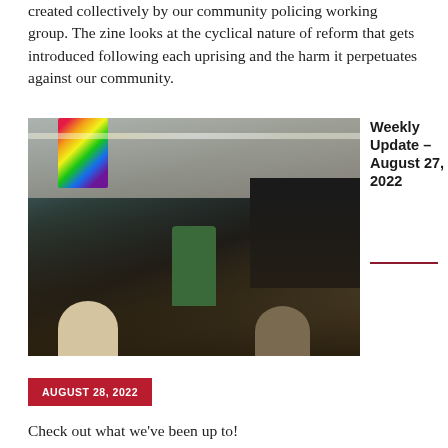created collectively by our community policing working group. The zine looks at the cyclical nature of reform that gets introduced following each uprising and the harm it perpetuates against our community.
[Figure (photo): Indoor event photo showing performers on a small stage in a room with rainbow pride flags hanging from the ceiling. Fluorescent strip lights overhead. An audience sits watching the performers. One person in a green outfit appears to be singing. Others stand nearby. Dark wall visible on the right side.]
Weekly Update – August 27, 2022
AUGUST 28, 2022
Check out what we've been up to!